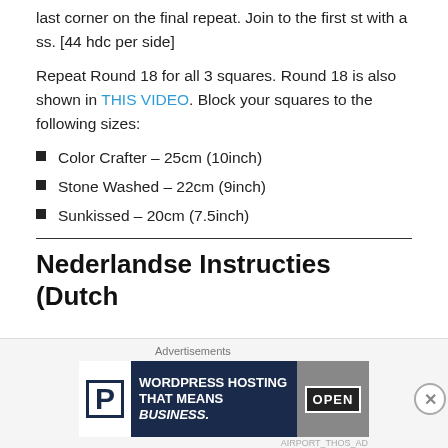last corner on the final repeat. Join to the first st with a ss. [44 hdc per side]
Repeat Round 18 for all 3 squares. Round 18 is also shown in THIS VIDEO. Block your squares to the following sizes:
Color Crafter – 25cm (10inch)
Stone Washed – 22cm (9inch)
Sunkissed – 20cm (7.5inch)
Nederlandse Instructies (Dutch
[Figure (other): Advertisement banner for WordPress Hosting with an open sign image]